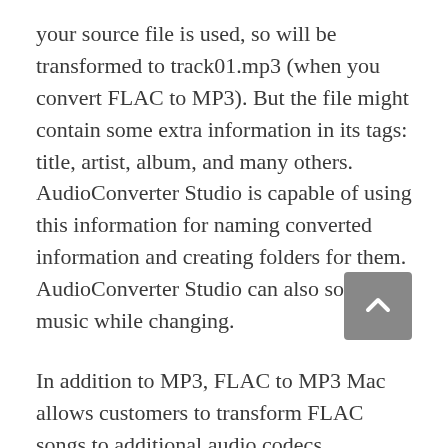your source file is used, so will be transformed to track01.mp3 (when you convert FLAC to MP3). But the file might contain some extra information in its tags: title, artist, album, and many others. AudioConverter Studio is capable of using this information for naming converted information and creating folders for them. AudioConverter Studio can also sort your music while changing.
In addition to MP3, FLAC to MP3 Mac allows customers to transform FLAC songs to additional audio codecs reminiscent of AAC, M4A, OGG, WMA and WAV. The program helps over 500 fashionable and uncommon video formats: MP4, AVI, FLV, MKV, DVD, WMV, HD, H.264, MOV, VOB, SWF, TS, WebM, Xvid, etc. Save soundtracks and extract music from a video in seconds. It's also possible to use the FLAC to MP3 Mac to extract